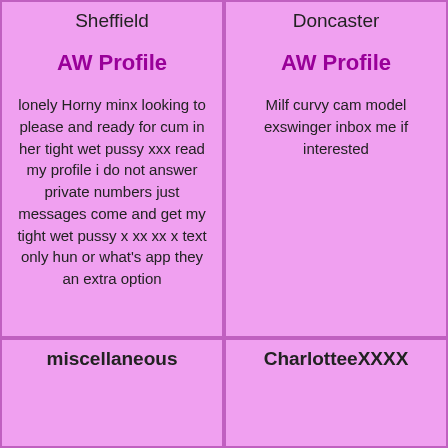Sheffield
AW Profile
lonely Horny minx looking to please and ready for cum in her tight wet pussy xxx read my profile i do not answer private numbers just messages come and get my tight wet pussy x xx xx x text only hun or what's app they an extra option
Doncaster
AW Profile
Milf curvy cam model exswinger inbox me if interested
miscellaneous
CharlotteeXXXX